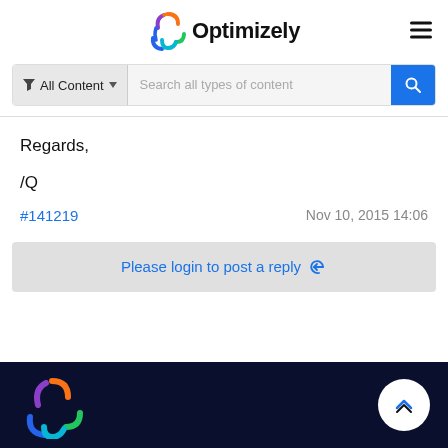[Figure (logo): Optimizely logo with colorful icon and bold text 'Optimizely']
[Figure (screenshot): Search bar with 'All Content' filter dropdown and 'Search all types of content' placeholder, blue search button]
Regards,
/Q
#141219    Nov 10, 2015 14:06
Please login to post a reply ↩
[Figure (logo): Optimizely icon logo in footer on dark navy background with back-to-top button]